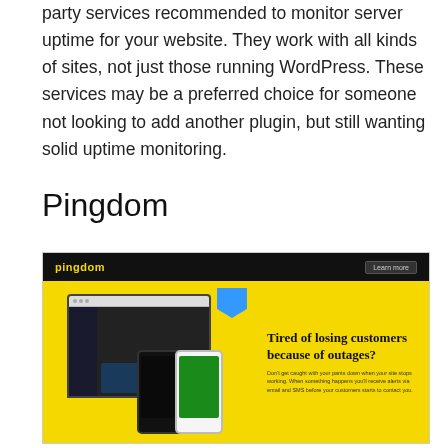party services recommended to monitor server uptime for your website. They work with all kinds of sites, not just those running WordPress. These services may be a preferred choice for someone not looking to add another plugin, but still wanting solid uptime monitoring.
Pingdom
[Figure (screenshot): Screenshot of the Pingdom website homepage showing a black navigation bar with the Pingdom logo in yellow and a 'Learn more' button, and a yellow background section with desktop and mobile app mockups on the left and the headline 'Tired of losing customers because of outages?' with subtext on the right.]